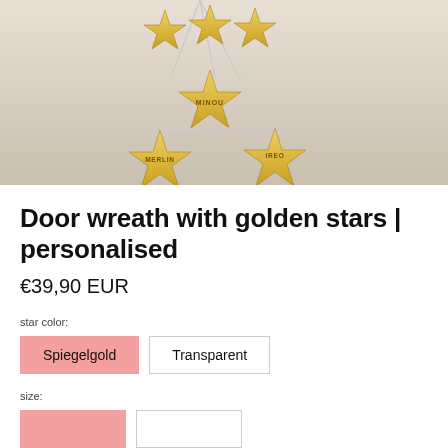[Figure (photo): A door wreath with multiple golden star-shaped ornaments hanging on strings against a light wall. Some stars have names engraved: MINOU, MERLIN, IREO.]
Door wreath with golden stars | personalised
€39,90 EUR
star color:
Spiegelgold
Transparent
size: